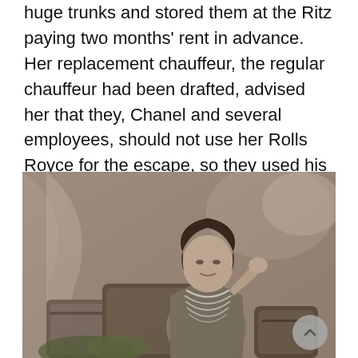huge trunks and stored them at the Ritz paying two months' rent in advance. Her replacement chauffeur, the regular chauffeur had been drafted, advised her that they, Chanel and several employees, should not use her Rolls Royce for the escape, so they used his car.  She was among the thousands that fled the capitol.  The great exodus had begun.
[Figure (photo): Vintage black-and-white portrait photograph of a woman, likely Coco Chanel, wearing multiple strands of pearl necklaces and a jacket, resting her arm on luggage or a trunk, with foliage and draped fabric visible in the background.]